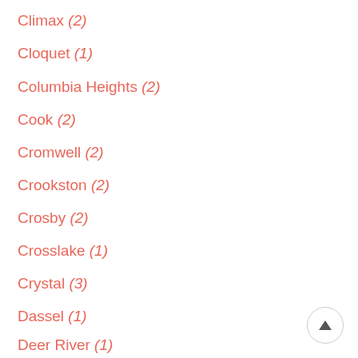Climax (2)
Cloquet (1)
Columbia Heights (2)
Cook (2)
Cromwell (2)
Crookston (2)
Crosby (2)
Crosslake (1)
Crystal (3)
Dassel (1)
Deer River (1)